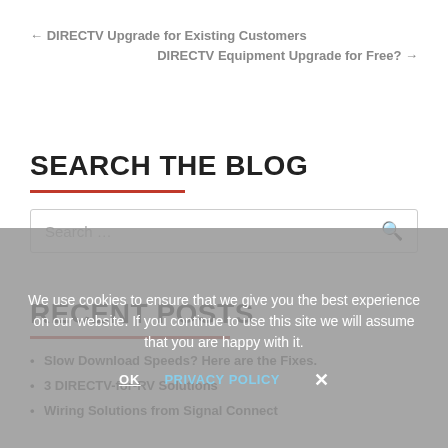← DIRECTV Upgrade for Existing Customers
DIRECTV Equipment Upgrade for Free? →
SEARCH THE BLOG
Search …
RECENT POSTS
Slow Download Speeds? Here are the Fixes.
3 DIRECTV-for-RV Solutions
Wiring Solutions from Signal Connect
We use cookies to ensure that we give you the best experience on our website. If you continue to use this site we will assume that you are happy with it.
OK   PRIVACY POLICY   ✕